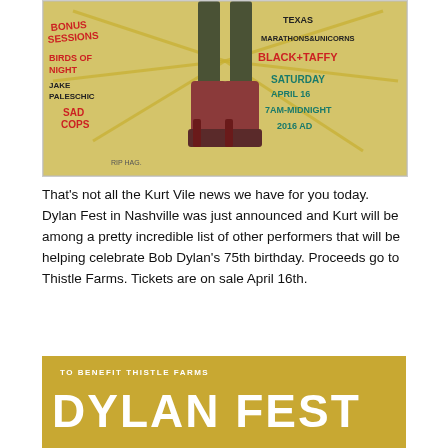[Figure (illustration): Hand-drawn concert poster on yellow background featuring text: Bonus Sessions, Birds of Night, Jake Paleschic, Sad Cops, Texas, Marathons & Unicorns, Black Taffy, Saturday April 16, 7AM-Midnight, 2016 AD. Features illustrated figure with platform boots. Signed RIP HAG.]
That's not all the Kurt Vile news we have for you today. Dylan Fest in Nashville was just announced and Kurt will be among a pretty incredible list of other performers that will be helping celebrate Bob Dylan's 75th birthday. Proceeds go to Thistle Farms. Tickets are on sale April 16th.
[Figure (illustration): Golden/tan background banner reading 'TO BENEFIT THISTLE FARMS' above large bold white text 'DYLAN FEST' with partial image below.]